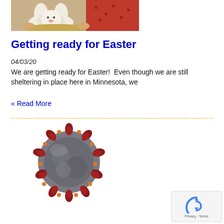[Figure (photo): Photo of a person holding a decorative Easter bunny item, wearing red clothing]
Getting ready for Easter
04/03/20
We are getting ready for Easter!  Even though we are still sheltering in place here in Minnesota, we
« Read More
[Figure (photo): Close-up scientific illustration or microscope image of a coronavirus particle with red spike proteins on a gray spherical body]